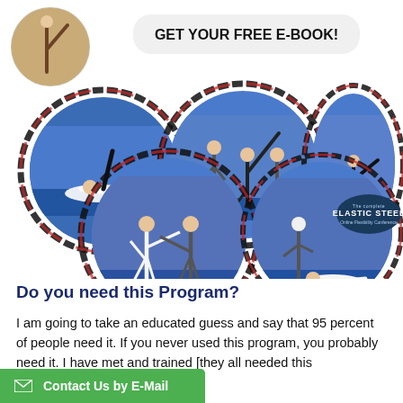[Figure (photo): Collage of five circular martial arts/flexibility training photos with decorative brush stroke rings. Top left: small circle with karate kick. Row 1: person lying stretching, two people doing high kick stretch, person doing side kick. Row 2: two people sparring/grappling, person doing floor flexibility exercise. GET YOUR FREE E-BOOK bubble at top center. Elastic Steel logo badge bottom right.]
Do you need this Program?
I am going to take an educated guess and say that 95 percent of people need it. If you never used this program, you probably need it. I have met and trained [they all needed this
Contact Us by E-Mail